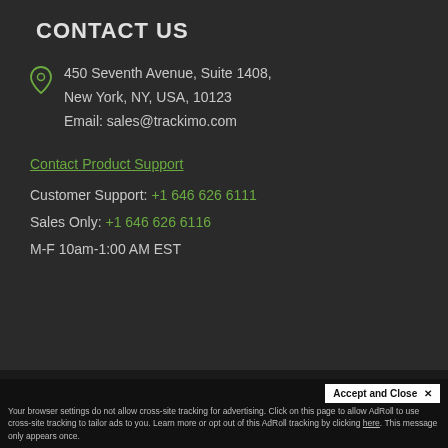CONTACT US
450 Seventh Avenue, Suite 1408,
New York, NY, USA, 10123
Email: sales@trackimo.com
Contact Product Support
Customer Support: +1 646 626 6111
Sales Only: +1 646 626 6116
M-F 10am-1:00 AM EST
DMCA Disclaimer   Terms of Service   Privacy Policy   Si...
Accept and Close ✕
Your browser settings do not allow cross-site tracking for advertising. Click on this page to allow AdRoll to use cross-site tracking to tailor ads to you. Learn more or opt out of this AdRoll tracking by clicking here. This message only appears once.